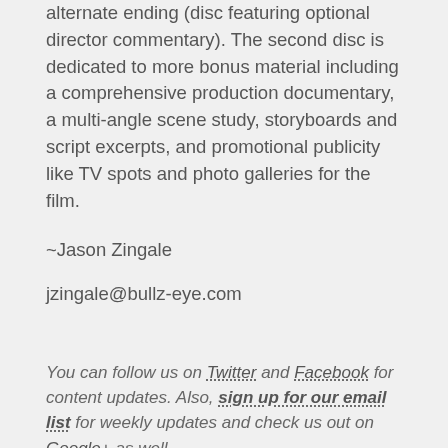alternate ending (disc featuring optional director commentary). The second disc is dedicated to more bonus material including a comprehensive production documentary, a multi-angle scene study, storyboards and script excerpts, and promotional publicity like TV spots and photo galleries for the film.
~Jason Zingale
jzingale@bullz-eye.com
You can follow us on Twitter and Facebook for content updates. Also, sign up for our email list for weekly updates and check us out on Google+ as well.
AROUND THE WEB